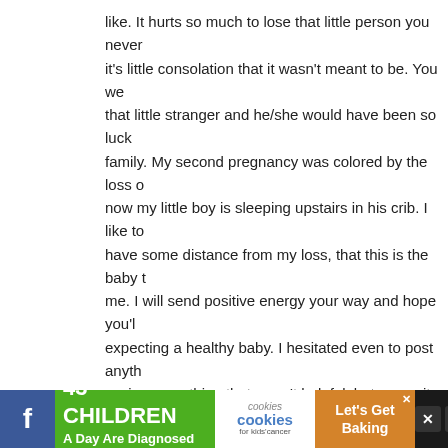like. It hurts so much to lose that little person you never knew, and it's little consolation that it wasn't meant to be. You we that little stranger and he/she would have been so luck family. My second pregnancy was colored by the loss o now my little boy is sleeping upstairs in his crib. I like to have some distance from my loss, that this is the baby t me. I will send positive energy your way and hope you'l expecting a healthy baby. I hesitated even to post anyth saying something that wasn't helpful, but you write you your readers and I wanted to tell you I was sharing you of you.
> Reply
47. Lindsey says:
MAY 16TH, 2012 AT 3:40 AM
Oh my heart. It feels like someone grabbed it with their
Hugs to you both.
[Figure (infographic): Advertisement bar: '43 CHILDREN A Day Are Diagnosed With Cancer in the U.S.' with cookies for kids' cancer logo and 'Let's Get Baking' call to action on brown background]